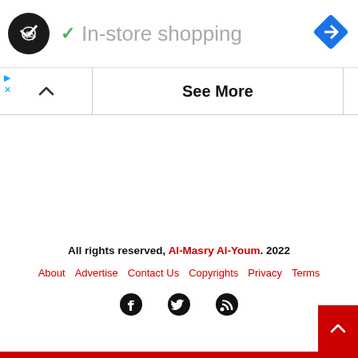[Figure (logo): Dark circle logo with double-arrow symbol and Google Maps navigation diamond icon, with green checkmark and 'In-store shopping' text]
In-store shopping
See More
All rights reserved, Al-Masry Al-Youm. 2022
About   Advertise   Contact Us   Copyrights   Privacy   Terms
[Figure (illustration): Social media icons: Facebook, Twitter, RSS feed]
All rights reserved, Al-Masry Al-Youm. 2022